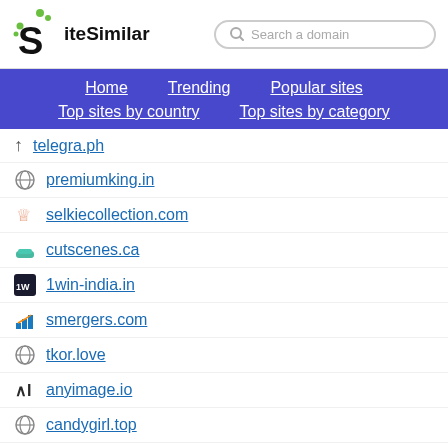[Figure (logo): SiteSimilar logo with stylized S and dots]
Search a domain
Home
Trending
Popular sites
Top sites by country
Top sites by category
telegra.ph
premiumking.in
selkiecollection.com
cutscenes.ca
1win-india.in
smergers.com
tkor.love
anyimage.io
candygirl.top